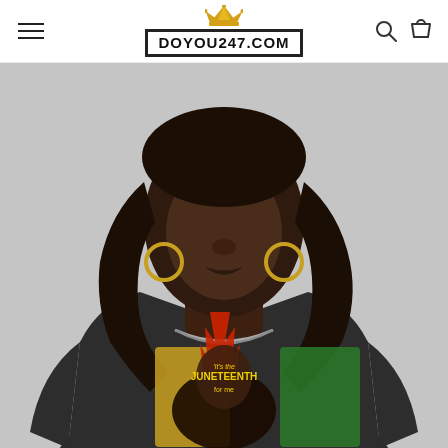[Figure (logo): DOYOU247.COM logo with golden crown above, black border box, white background]
[Figure (photo): A young Black woman wearing a black t-shirt with a Juneteenth graphic design featuring red, yellow and green Pan-African colors, a silhouette of a woman with afro and the text 'It's the Juneteenth for me'. She has long wavy hair, hoop earrings and a silver chain necklace. Background is light gray.]